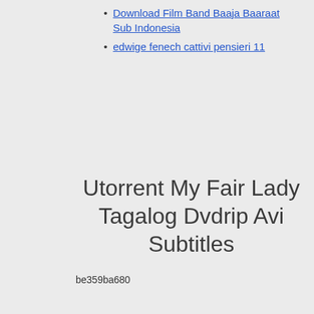Download Film Band Baaja Baaraat Sub Indonesia
edwige fenech cattivi pensieri 11
Utorrent My Fair Lady Tagalog Dvdrip Avi Subtitles
be359ba680